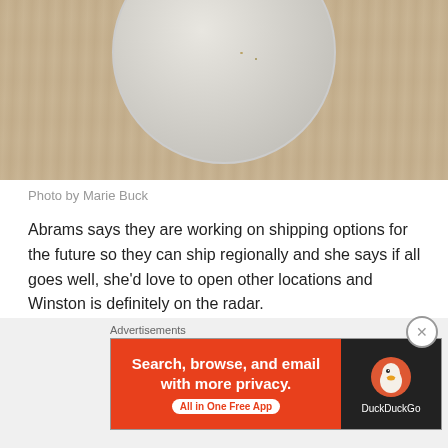[Figure (photo): Top portion of a round white/light gray plate or bowl on a wooden surface, photographed from above]
Photo by Marie Buck
Abrams says they are working on shipping options for the future so they can ship regionally and she says if all goes well, she'd love to open other locations and Winston is definitely on the radar.
Though a pie shop is an anomaly where she lives, Abrams says her customers are finding her and she loves hearing their stories.  “People come here from Winston and they
[Figure (screenshot): DuckDuckGo advertisement banner: orange left side with text 'Search, browse, and email with more privacy. All in One Free App', black right side with DuckDuckGo duck logo and brand name]